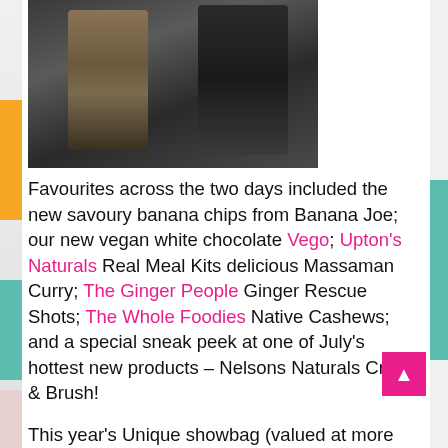[Figure (photo): Photo of two people standing at what appears to be a market or trade show event, cropped to show their bodies from mid-chest down.]
Favourites across the two days included the new savoury banana chips from Banana Joe; our new vegan white chocolate Vego; Upton's Naturals Real Meal Kits delicious Massaman Curry; The Ginger People Ginger Rescue Shots; The Whole Foodies Native Cashews; and a special sneak peek at one of July's hottest new products – Nelsons Naturals Crush & Brush!
This year's Unique showbag (valued at more than $150) was a hit and included CLIF Bar's favourite flavour of 2019 – Peanut Butter Banana and an assortment of our top-selling products. Unique giveaways also included hundreds of Cheeki stainless steel